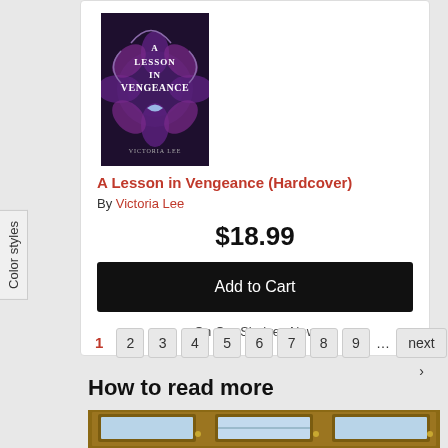[Figure (illustration): Book cover for 'A Lesson in Vengeance' by Victoria Lee, dark purple/black with floral design]
A Lesson in Vengeance (Hardcover)
By Victoria Lee
$18.99
Add to Cart
On Our Shelves Now
1 2 3 4 5 6 7 8 9 ... next › last »
How to read more
[Figure (photo): Photo of a wooden door or cabinet with three framed panels/windows]